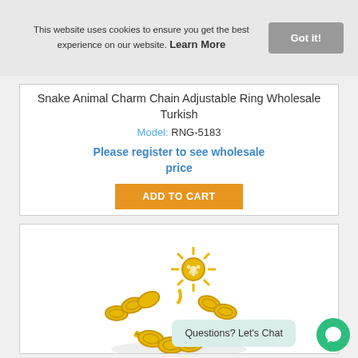This website uses cookies to ensure you get the best experience on our website. Learn More
Got it!
Snake Animal Charm Chain Adjustable Ring Wholesale Turkish
Model: RNG-5183
Please register to see wholesale price
ADD TO CART
[Figure (photo): Gold chain adjustable ring with star/sun charm decorated with crystal stones, shown on white background]
Questions? Let's Chat